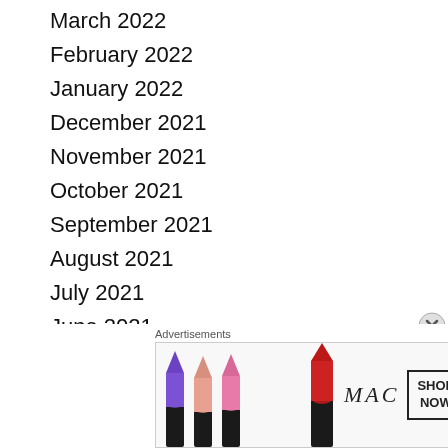March 2022
February 2022
January 2022
December 2021
November 2021
October 2021
September 2021
August 2021
July 2021
June 2021
May 2021
April 2021
March 2021
February 2021
January 2021
[Figure (other): MAC Cosmetics advertisement banner with lipsticks and SHOP NOW button]
Advertisements